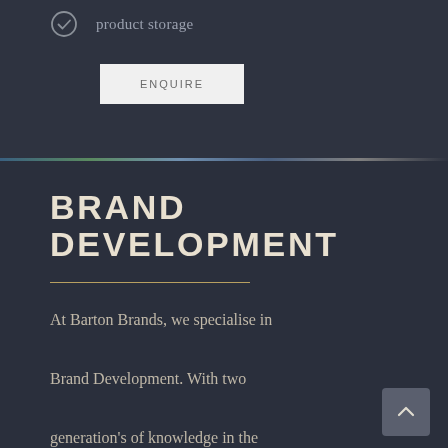product storage
ENQUIRE
BRAND DEVELOPMENT
At Barton Brands, we specialise in Brand Development. With two generation's of knowledge in the